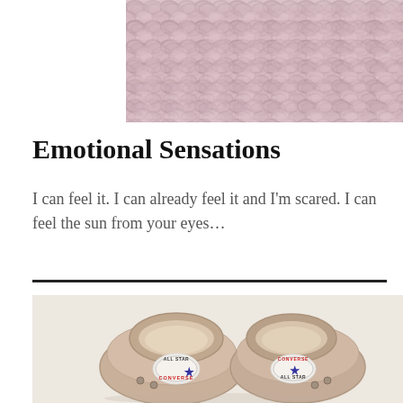[Figure (photo): Close-up photo of chunky knit fabric in pale pink/blush color, showing thick yarn texture and weave pattern]
Emotional Sensations
I can feel it. I can already feel it and I'm scared. I can feel the sun from your eyes...
[Figure (photo): Photo of two worn pink/blush Converse All Star sneakers viewed from behind/above, showing the Converse logo patches on the heel, placed on a light surface]